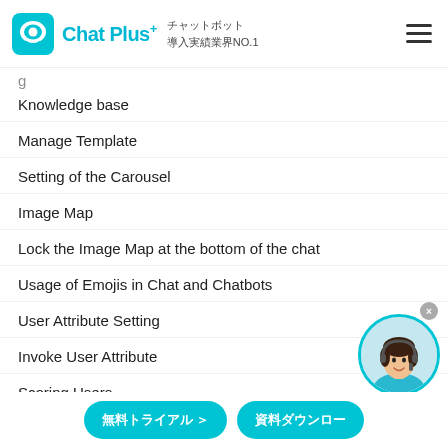Chat Plus+ チャットボット 導入実績業界NO.1
Knowledge base
Manage Template
Setting of the Carousel
Image Map
Lock the Image Map at the bottom of the chat
Usage of Emojis in Chat and Chatbots
User Attribute Setting
Invoke User Attribute
Scoring Users
Setting of the Carousel
[Figure (photo): Customer support woman with headset avatar photo in circular frame with teal border]
無料トライアル ＞　資料ダウンロー